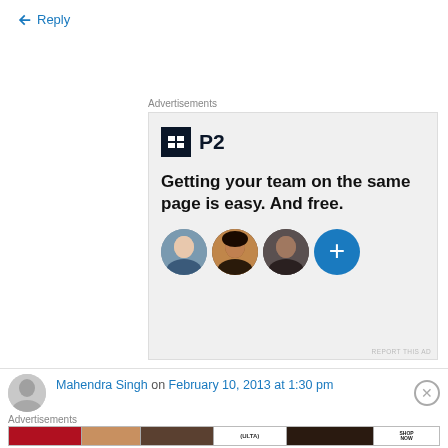↳ Reply
Advertisements
[Figure (screenshot): P2 advertisement with logo, headline 'Getting your team on the same page is easy. And free.' and three profile photos plus a blue plus button]
REPORT THIS AD
Mahendra Singh on February 10, 2013 at 1:30 pm
Advertisements
[Figure (screenshot): Ulta Beauty advertisement banner with makeup imagery and SHOP NOW button]